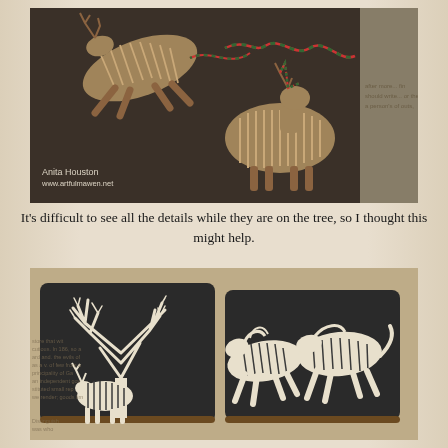[Figure (photo): Photo of two wooden laser-cut reindeer ornaments with striped texture on a dark background, decorated with colorful red and green garlands. Watermark reads 'Anita Houston www.artfulmawen.net'.]
It's difficult to see all the details while they are on the tree, so I thought this might help.
[Figure (photo): Photo of wooden laser-cut ornaments on dark coaster boards: a bare tree silhouette with deer, and running horses with striped texture, placed on a light wooden surface.]